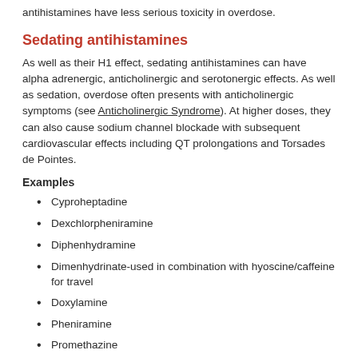antihistamines have less serious toxicity in overdose.
Sedating antihistamines
As well as their H1 effect, sedating antihistamines can have alpha adrenergic, anticholinergic and serotonergic effects. As well as sedation, overdose often presents with anticholinergic symptoms (see Anticholinergic Syndrome). At higher doses, they can also cause sodium channel blockade with subsequent cardiovascular effects including QT prolongations and Torsades de Pointes.
Examples
Cyproheptadine
Dexchlorpheniramine
Diphenhydramine
Dimenhydrinate-used in combination with hyoscine/caffeine for travel
Doxylamine
Pheniramine
Promethazine
Trimeprazine
Brompheniramine